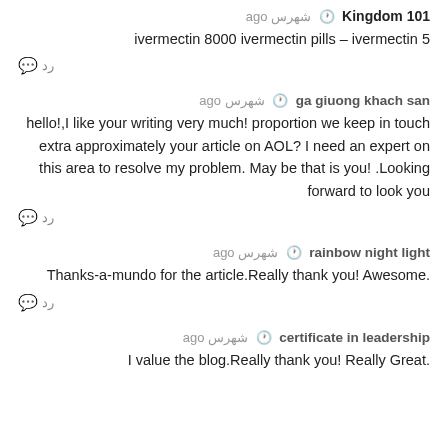Kingdom 101 شهرس ago
ivermectin 8000 ivermectin pills – ivermectin 5
رد
ga giuong khach san شهرس ago
hello!,I like your writing very much! proportion we keep in touch extra approximately your article on AOL? I need an expert on this area to resolve my problem. May be that is you! .Looking forward to look you
رد
rainbow night light شهرس ago
.Thanks-a-mundo for the article.Really thank you! Awesome
رد
certificate in leadership شهرس ago
.I value the blog.Really thank you! Really Great